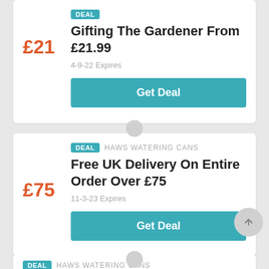Gifting The Gardener From £21.99
£21
4-9-22 Expires
Get Deal
DEAL  HAWS WATERING CANS
Free UK Delivery On Entire Order Over £75
£75
11-3-23 Expires
Get Deal
DEAL  HAWS WATERING CANS